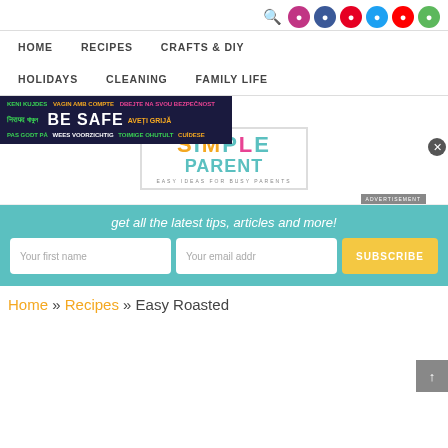HOME   RECIPES   CRAFTS & DIY   HOLIDAYS   CLEANING   FAMILY LIFE
[Figure (logo): Simple Parent blog logo with tagline EASY IDEAS FOR BUSY PARENTS, overlaid by a BE SAFE multilingual advertisement banner]
get all the latest tips, articles and more!
Your first name   Your email addr   SUBSCRIBE
Home » Recipes » Easy Roasted